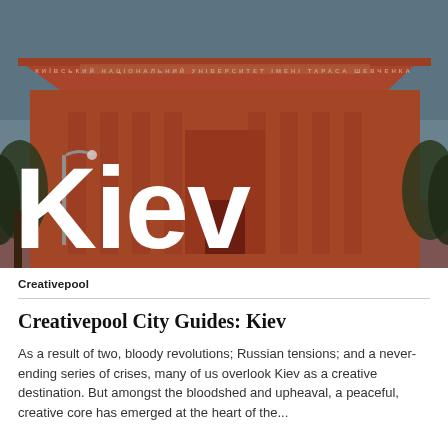[Figure (photo): Photograph of a large red neoclassical building (university) with columns and Cyrillic text on the pediment, trees in the foreground, sky above. Large white bold text 'Kiev' overlaid on the image.]
Creativepool
Creativepool City Guides: Kiev
As a result of two, bloody revolutions; Russian tensions; and a never-ending series of crises, many of us overlook Kiev as a creative destination. But amongst the bloodshed and upheaval, a peaceful, creative core has emerged at the heart of the...